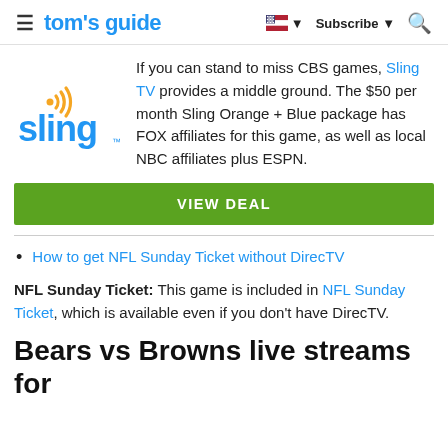≡  tom's guide   🇺🇸 ▼  Subscribe ▼  🔍
[Figure (logo): Sling TV logo — blue 'sling' wordmark with orange signal arc icon]
If you can stand to miss CBS games, Sling TV provides a middle ground. The $50 per month Sling Orange + Blue package has FOX affiliates for this game, as well as local NBC affiliates plus ESPN.
VIEW DEAL
How to get NFL Sunday Ticket without DirecTV
NFL Sunday Ticket: This game is included in NFL Sunday Ticket, which is available even if you don't have DirecTV.
Bears vs Browns live streams for